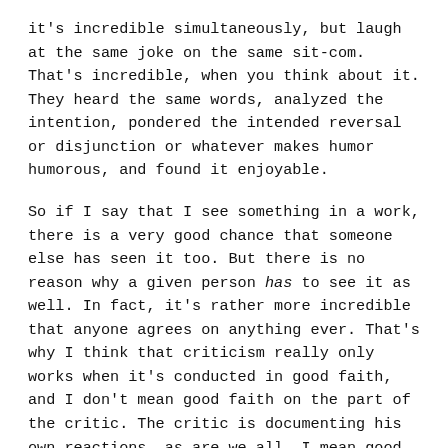it's incredible simultaneously, but laugh at the same joke on the same sit-com. That's incredible, when you think about it. They heard the same words, analyzed the intention, pondered the intended reversal or disjunction or whatever makes humor humorous, and found it enjoyable.
So if I say that I see something in a work, there is a very good chance that someone else has seen it too. But there is no reason why a given person has to see it as well. In fact, it's rather more incredible that anyone agrees on anything ever. That's why I think that criticism really only works when it's conducted in good faith, and I don't mean good faith on the part of the critic. The critic is documenting his own reactions, as are we all. I mean good faith on the part of the reader.